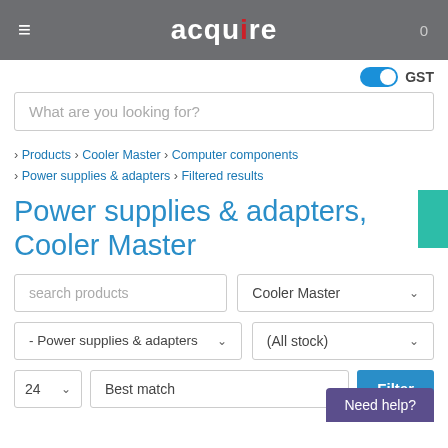acquire
GST
What are you looking for?
> Products > Cooler Master > Computer components > Power supplies & adapters > Filtered results
Power supplies & adapters, Cooler Master
search products
Cooler Master
- Power supplies & adapters
(All stock)
24
Best match
Filter
Need help?